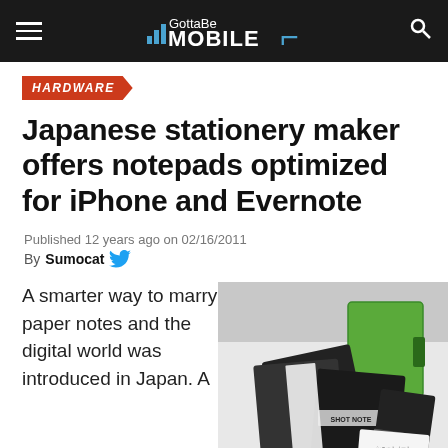GottaBe MOBILE
HARDWARE
Japanese stationery maker offers notepads optimized for iPhone and Evernote
Published 12 years ago on 02/16/2011
By Sumocat
A smarter way to marry paper notes and the digital world was introduced in Japan. A
[Figure (photo): Photo of several notepads and notebook products including Shot Note brand notebooks in black and green colors spread on a white surface]